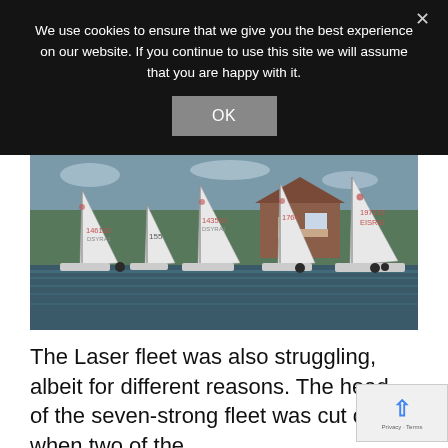We use cookies to ensure that we give you the best experience on our website. If you continue to use this site we will assume that you are happy with it.
[Figure (photo): Sailing race on a river with multiple Laser dinghies carrying sail numbers including 146120, 155, 143516, 197213, EISREI. Houses and trees visible in background.]
The Laser fleet was also struggling, albeit for different reasons. The head of the seven-strong fleet was cut off when two of the